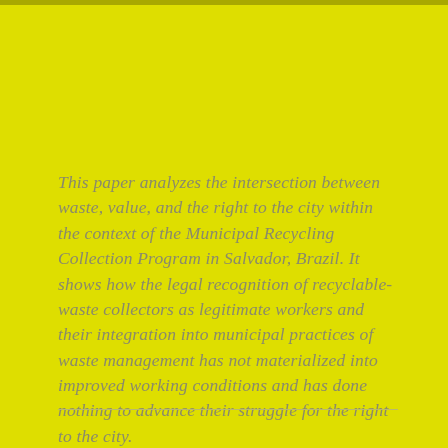This paper analyzes the intersection between waste, value, and the right to the city within the context of the Municipal Recycling Collection Program in Salvador, Brazil. It shows how the legal recognition of recyclable-waste collectors as legitimate workers and their integration into municipal practices of waste management has not materialized into improved working conditions and has done nothing to advance their struggle for the right to the city.
By Maya Manzi, Joilson Santos Santana, Cristina Maria Dacach Fernandez Marchi